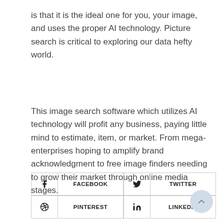is that it is the ideal one for you, your image, and uses the proper AI technology. Picture search is critical to exploring our data hefty world.
This image search software which utilizes AI technology will profit any business, paying little mind to estimate, item, or market. From mega-enterprises hoping to amplify brand acknowledgment to free image finders needing to grow their market through online media stages.
[Figure (infographic): Social media sharing buttons arranged in a 2x2 grid: Facebook, Twitter, Pinterest, LinkedIn icons with labels. A scroll-to-top button appears at bottom right.]